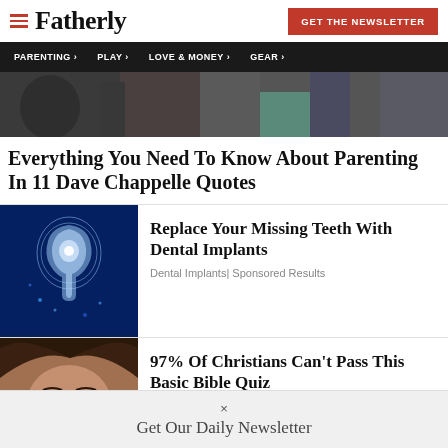Fatherly | GET THE NEWSLETTER
PARENTING › PLAY › LOVE & MONEY › GEAR ›
[Figure (photo): Hero image showing people in background, partial crop]
Everything You Need To Know About Parenting In 11 Dave Chappelle Quotes
[Figure (photo): Glowing crystal/diamond dental implant illustration on dark blue background]
Replace Your Missing Teeth With Dental Implants
Dental Implants| Sponsored Results
[Figure (photo): Close-up face of a woman with brown hair and eyes]
97% Of Christians Can't Pass This Basic Bible Quiz
× Get Our Daily Newsletter